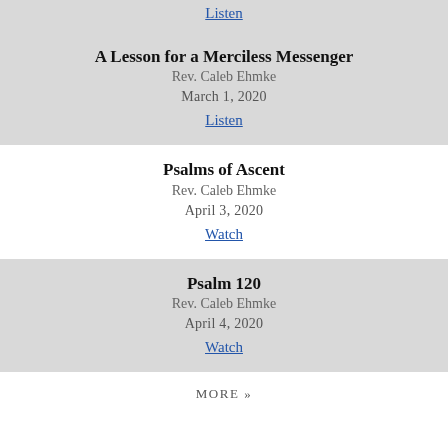Listen
A Lesson for a Merciless Messenger
Rev. Caleb Ehmke
March 1, 2020
Listen
Psalms of Ascent
Rev. Caleb Ehmke
April 3, 2020
Watch
Psalm 120
Rev. Caleb Ehmke
April 4, 2020
Watch
MORE »